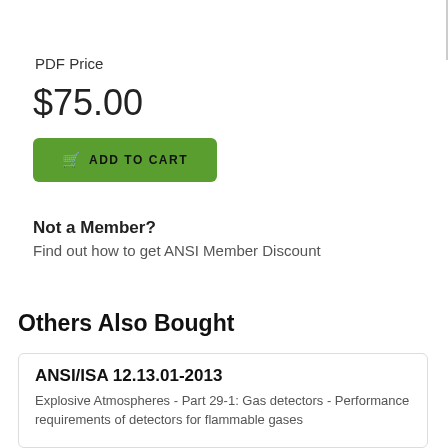PDF Price
$75.00
ADD TO CART
Not a Member?
Find out how to get ANSI Member Discount
Others Also Bought
ANSI/ISA 12.13.01-2013
Explosive Atmospheres - Part 29-1: Gas detectors - Performance requirements of detectors for flammable gases